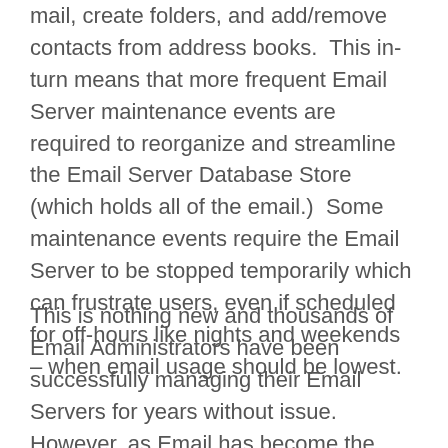mail, create folders, and add/remove contacts from address books.  This in-turn means that more frequent Email Server maintenance events are required to reorganize and streamline the Email Server Database Store (which holds all of the email.)  Some maintenance events require the Email Server to be stopped temporarily which can frustrate users, even if scheduled for off-hours like nights and weekends – when email usage should be lowest.
This is nothing new and thousands of Email Administrators have been successfully managing their Email Servers for years without issue.  However, as Email has become the predominant form of business communication,